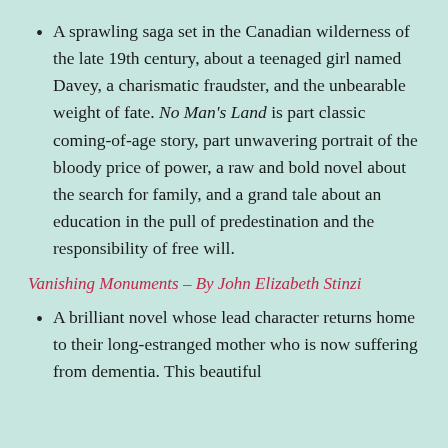A sprawling saga set in the Canadian wilderness of the late 19th century, about a teenaged girl named Davey, a charismatic fraudster, and the unbearable weight of fate. No Man's Land is part classic coming-of-age story, part unwavering portrait of the bloody price of power, a raw and bold novel about the search for family, and a grand tale about an education in the pull of predestination and the responsibility of free will.
Vanishing Monuments – By John Elizabeth Stinzi
A brilliant novel whose lead character returns home to their long-estranged mother who is now suffering from dementia. This beautiful